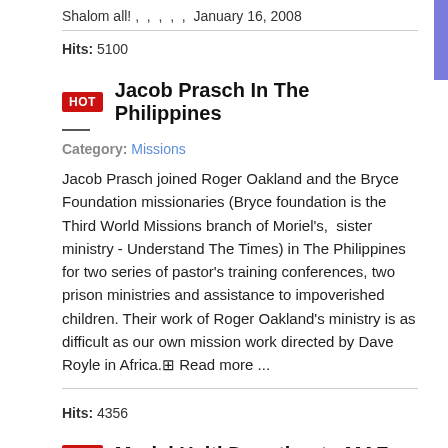Shalom all! ,  ,  ,  ,  ,  January 16, 2008
Hits: 5100
Jacob Prasch In The Philippines
Category: Missions
Jacob Prasch joined Roger Oakland and the Bryce Foundation missionaries (Bryce foundation is the Third World Missions branch of Moriel's,  sister ministry - Understand The Times) in The Philippines for two series of pastor's training conferences, two prison ministries and assistance to impoverished children. Their work of Roger Oakland's ministry is as difficult as our own mission work directed by Dave Royle in Africa. Read more ...
Hits: 4356
Moriel Haiti Donation to MAF